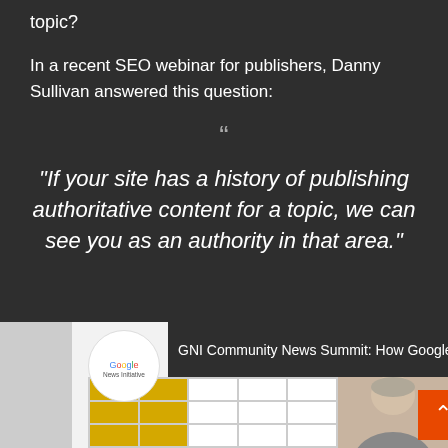topic?
In a recent SEO webinar for publishers, Danny Sullivan answered this question:
“
“If your site has a history of publishing authoritative content for a topic, we can see you as an authority in that area.”
[Figure (screenshot): A video thumbnail showing GNI Community News Summit: How Google s... with the Google News Initiative logo circle, a yellow grid pattern, a person photo, and an orange scroll-to-top button]